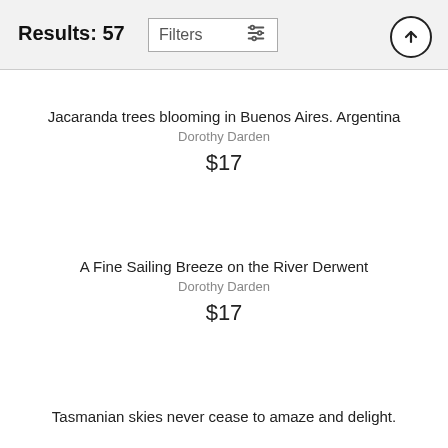Results: 57
Jacaranda trees blooming in Buenos Aires. Argentina
Dorothy Darden
$17
A Fine Sailing Breeze on the River Derwent
Dorothy Darden
$17
Tasmanian skies never cease to amaze and delight.